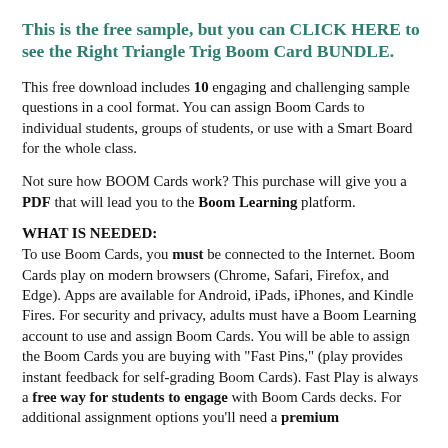This is the free sample, but you can CLICK HERE to see the Right Triangle Trig Boom Card BUNDLE.
This free download includes 10 engaging and challenging sample questions in a cool format. You can assign Boom Cards to individual students, groups of students, or use with a Smart Board for the whole class.
Not sure how BOOM Cards work? This purchase will give you a PDF that will lead you to the Boom Learning platform.
WHAT IS NEEDED:
To use Boom Cards, you must be connected to the Internet. Boom Cards play on modern browsers (Chrome, Safari, Firefox, and Edge). Apps are available for Android, iPads, iPhones, and Kindle Fires. For security and privacy, adults must have a Boom Learning account to use and assign Boom Cards. You will be able to assign the Boom Cards you are buying with "Fast Pins," (play provides instant feedback for self-grading Boom Cards). Fast Play is always a free way for students to engage with Boom Cards decks. For additional assignment options you'll need a premium